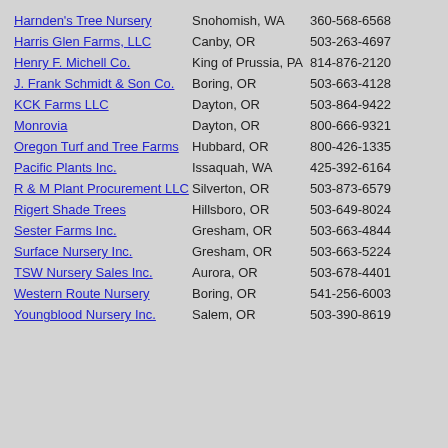Harnden's Tree Nursery | Snohomish, WA | 360-568-6568
Harris Glen Farms, LLC | Canby, OR | 503-263-4697
Henry F. Michell Co. | King of Prussia, PA | 814-876-2120
J. Frank Schmidt & Son Co. | Boring, OR | 503-663-4128
KCK Farms LLC | Dayton, OR | 503-864-9422
Monrovia | Dayton, OR | 800-666-9321
Oregon Turf and Tree Farms | Hubbard, OR | 800-426-1335
Pacific Plants Inc. | Issaquah, WA | 425-392-6164
R & M Plant Procurement LLC | Silverton, OR | 503-873-6579
Rigert Shade Trees | Hillsboro, OR | 503-649-8024
Sester Farms Inc. | Gresham, OR | 503-663-4844
Surface Nursery Inc. | Gresham, OR | 503-663-5224
TSW Nursery Sales Inc. | Aurora, OR | 503-678-4401
Western Route Nursery | Boring, OR | 541-256-6003
Youngblood Nursery Inc. | Salem, OR | 503-390-8619